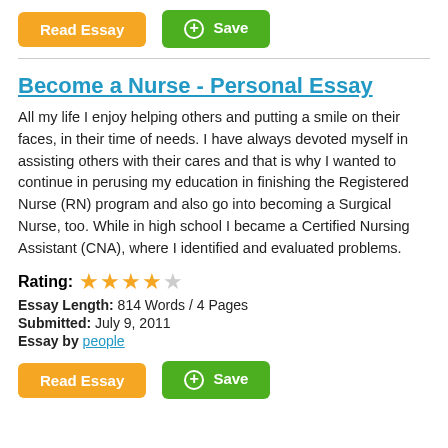[Figure (screenshot): Orange 'Read Essay' button and green '+Save' button at top]
Become a Nurse - Personal Essay
All my life I enjoy helping others and putting a smile on their faces, in their time of needs. I have always devoted myself in assisting others with their cares and that is why I wanted to continue in perusing my education in finishing the Registered Nurse (RN) program and also go into becoming a Surgical Nurse, too. While in high school I became a Certified Nursing Assistant (CNA), where I identified and evaluated problems.
Rating: ★★★★☆
Essay Length: 814 Words / 4 Pages
Submitted: July 9, 2011
Essay by people
[Figure (screenshot): Orange 'Read Essay' button and green '+Save' button at bottom]